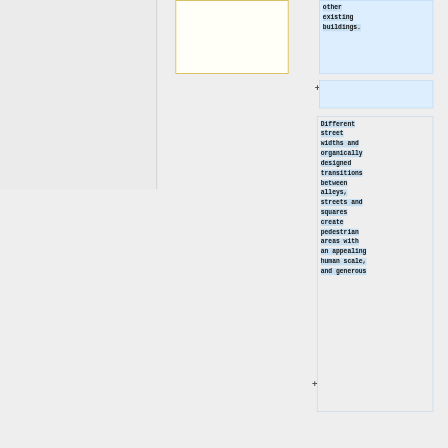[Figure (illustration): Yellow/cream bordered empty box on left side, part of a diagram or flowchart layout]
other existing buildings.
Different street widths and organically designed transitions between alleys, streets and squares create pedestrian areas with an appealing human scale, and generous